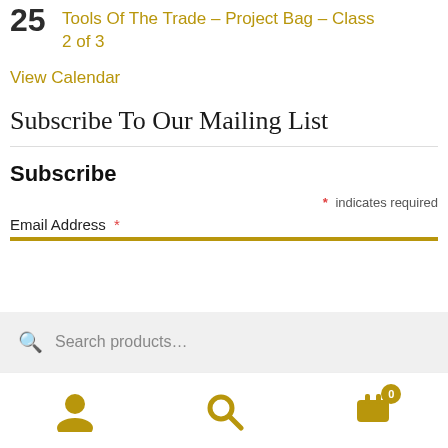25 Tools Of The Trade – Project Bag – Class 2 of 3
View Calendar
Subscribe To Our Mailing List
Subscribe
* indicates required
Email Address *
Search products...
[Figure (infographic): Bottom navigation bar with user/account icon, search icon, and shopping cart icon with badge showing 0]